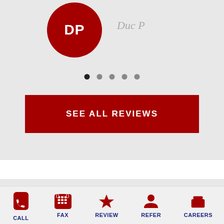[Figure (screenshot): User avatar circle with initials DP in dark red, and reviewer name 'Duc P' in gray italic beside it, on a light gray background]
[Figure (other): Carousel pagination dots, 5 dots, first dot filled dark/active]
SEE ALL REVIEWS
Categories
Business Insurance
CALL  FAX  REVIEW  REFER  CAREERS